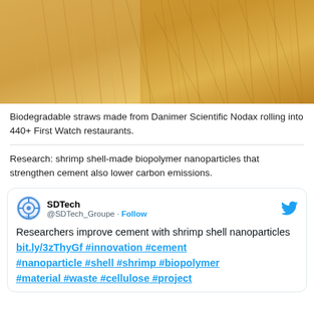[Figure (photo): Close-up photograph of dried straw/hay, showing golden straw stalks tightly bundled together]
Biodegradable straws made from Danimer Scientific Nodax rolling into 440+ First Watch restaurants.
Research: shrimp shell-made biopolymer nanoparticles that strengthen cement also lower carbon emissions.
[Figure (screenshot): Embedded tweet from @SDTech_Groupe (SDTech) reading: Researchers improve cement with shrimp shell nanoparticles bit.ly/3zThyGf #innovation #cement #nanoparticle #shell #shrimp #biopolymer #material #waste #cellulose #project]